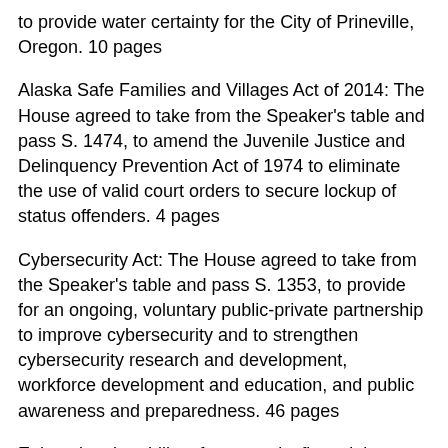to provide water certainty for the City of Prineville, Oregon. 10 pages
Alaska Safe Families and Villages Act of 2014: The House agreed to take from the Speaker's table and pass S. 1474, to amend the Juvenile Justice and Delinquency Prevention Act of 1974 to eliminate the use of valid court orders to secure lockup of status offenders. 4 pages
Cybersecurity Act: The House agreed to take from the Speaker's table and pass S. 1353, to provide for an ongoing, voluntary public-private partnership to improve cybersecurity and to strengthen cybersecurity research and development, workforce development and education, and public awareness and preparedness. 46 pages
Enhancing the ability of community financial institutions to foster economic growth: The House agreed to take from the Speaker's table and concur in the Senate